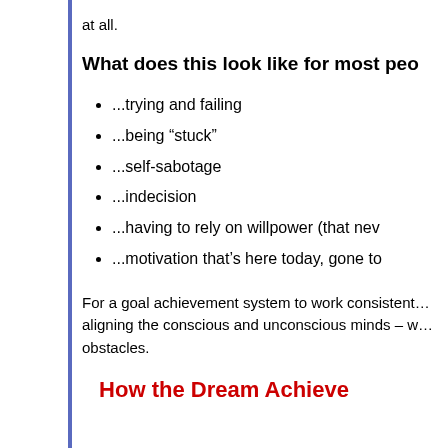at all.
What does this look like for most peo…
...trying and failing
...being “stuck”
...self-sabotage
...indecision
...having to rely on willpower (that nev…
...motivation that’s here today, gone to…
For a goal achievement system to work consistent… aligning the conscious and unconscious minds – w… obstacles.
How the Dream Achieve…